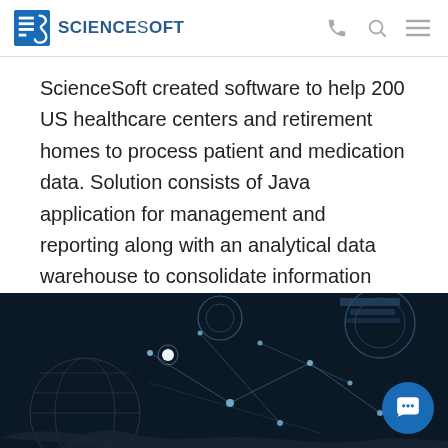ScienceSoft
ScienceSoft created software to help 200 US healthcare centers and retirement homes to process patient and medication data. Solution consists of Java application for management and reporting along with an analytical data warehouse to consolidate information from 200 databases.
LEARN MORE →
[Figure (photo): Dark technology-themed image showing digital network connections, glowing circles, and data visualization elements with a globe and digital interface in the background]